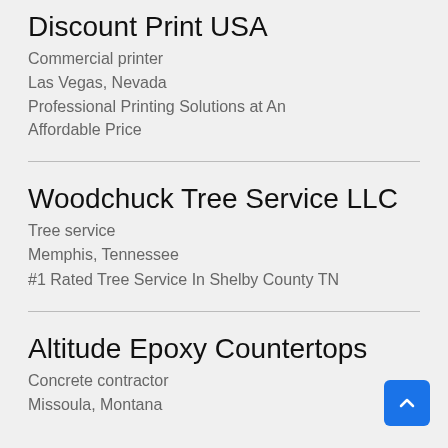Discount Print USA
Commercial printer
Las Vegas, Nevada
Professional Printing Solutions at An Affordable Price
Woodchuck Tree Service LLC
Tree service
Memphis, Tennessee
#1 Rated Tree Service In Shelby County TN
Altitude Epoxy Countertops
Concrete contractor
Missoula, Montana